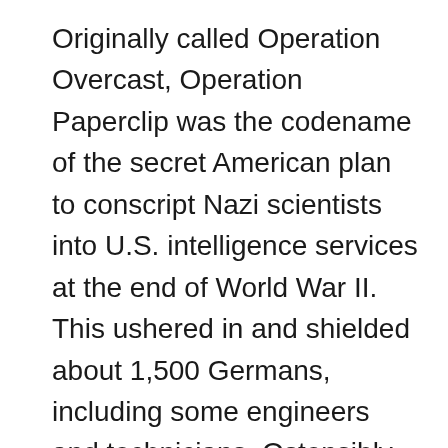Originally called Operation Overcast, Operation Paperclip was the codename of the secret American plan to conscript Nazi scientists into U.S. intelligence services at the end of World War II. This ushered in and shielded about 1,500 Germans, including some engineers and technicians. Ostensibly, the purpose of this redeployment by the Joint Intelligence Objectives Agency (JIOA) was to prevent Nazi scientific intelligence from helping reconstitute a new German government; it was also a